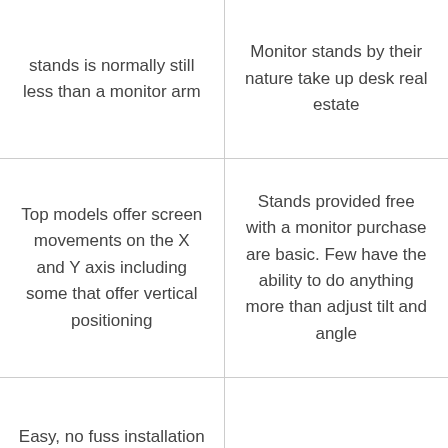| stands is normally still less than a monitor arm | Monitor stands by their nature take up desk real estate |
| Top models offer screen movements on the X and Y axis including some that offer vertical positioning | Stands provided free with a monitor purchase are basic. Few have the ability to do anything more than adjust tilt and angle |
| Easy, no fuss installation |  |
| A wide selection of |  |